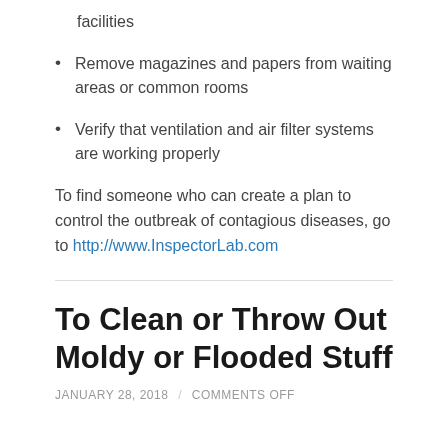facilities
Remove magazines and papers from waiting areas or common rooms
Verify that ventilation and air filter systems are working properly
To find someone who can create a plan to control the outbreak of contagious diseases, go to http://www.InspectorLab.com
To Clean or Throw Out Moldy or Flooded Stuff
JANUARY 28, 2018 / COMMENTS OFF